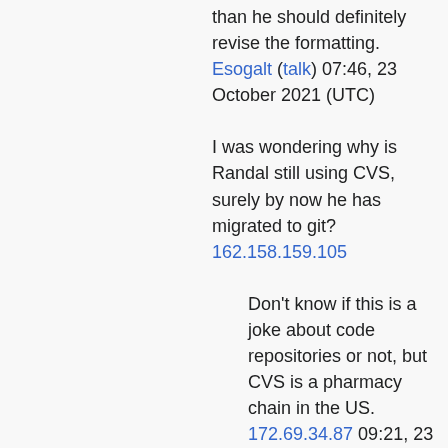than he should definitely revise the formatting. Esogalt (talk) 07:46, 23 October 2021 (UTC)
I was wondering why is Randal still using CVS, surely by now he has migrated to git? 162.158.159.105
Don't know if this is a joke about code repositories or not, but CVS is a pharmacy chain in the US. 172.69.34.87 09:21, 23 October 2021 (UTC)
I've added this to the explanation. Esogalt (talk) 09:36, 23 October 2021 (UTC)
This feels very SCP-esque